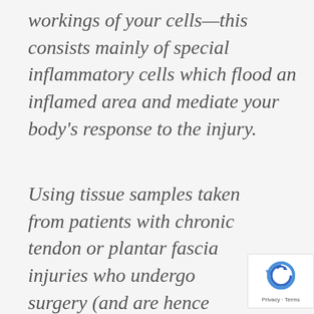workings of your cells—this consists mainly of special inflammatory cells which flood an inflamed area and mediate your body's response to the injury.
Using tissue samples taken from patients with chronic tendon or plantar fascia injuries who undergo surgery (and are hence being sliced open anyhow), recent studies have demonstrated a lack of inflammatory markers at the
[Figure (other): reCAPTCHA badge with Privacy and Terms text]